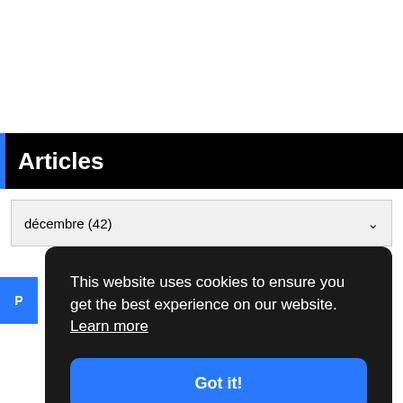Articles
décembre (42)
This website uses cookies to ensure you get the best experience on our website. Learn more
Got it!